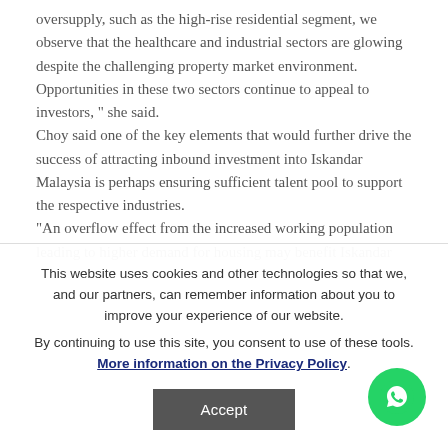oversupply, such as the high-rise residential segment, we observe that the healthcare and industrial sectors are glowing despite the challenging property market environment.
Opportunities in these two sectors continue to appeal to investors, " she said.
Choy said one of the key elements that would further drive the success of attracting inbound investment into Iskandar Malaysia is perhaps ensuring sufficient talent pool to support the respective industries.
"An overflow effect from the increased working population leading to higher demand for housing may benefit Iskandar
This website uses cookies and other technologies so that we, and our partners, can remember information about you to improve your experience of our website. By continuing to use this site, you consent to use of these tools. More information on the Privacy Policy.